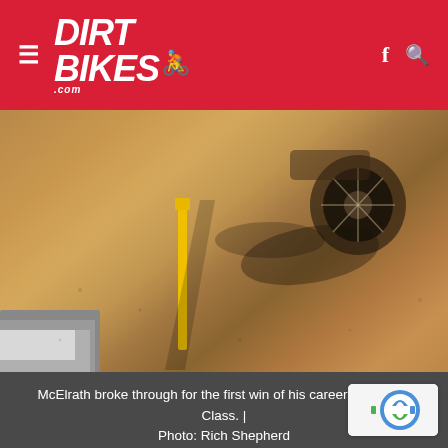DIRT BIKES .com
[Figure (photo): Dirt bike racing photo showing rear of a bike and shadow on dirt track surface]
McElrath broke through for the first win of his career in the 250 Class. | Photo: Rich Shepherd
The opening 250 Class moto saw point leader and Monster Energy/Yamalube/Star/Yamaha rider Aaron Plessinger do what he had to do and capture his first Motosport.com Holeshot of the season ahead of the Martin brothers, Troy Lee Designs/Red Bull/KTM's Alex and GEICO Honda's Jeremy. However, Plessinger gave up control of the le…